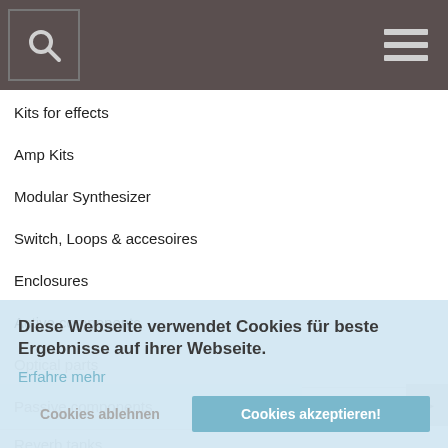[Search icon] [Menu icon]
Kits for effects
Amp Kits
Modular Synthesizer
Switch, Loops & accesoires
Enclosures
Active components
Optical parts
Passive components
Reverb tanks
Knobs
Solder & Tools
Measure tools
Diese Webseite verwendet Cookies für beste Ergebnisse auf ihrer Webseite.
Erfahre mehr
Cookies ablehnen
Cookies akzeptieren!